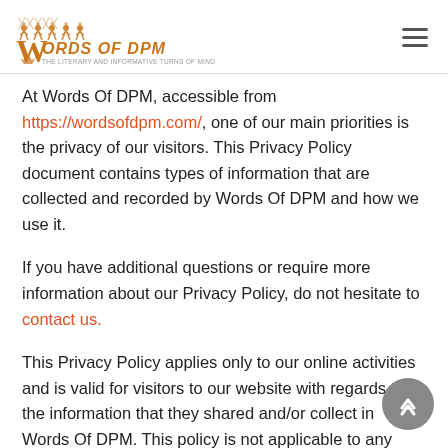[Figure (logo): Words Of DPM logo with decorative orange figures above and text 'Words Of DPM - The Literary and Informative Turns of Mind...']
At Words Of DPM, accessible from https://wordsofdpm.com/, one of our main priorities is the privacy of our visitors. This Privacy Policy document contains types of information that are collected and recorded by Words Of DPM and how we use it.
If you have additional questions or require more information about our Privacy Policy, do not hesitate to contact us.
This Privacy Policy applies only to our online activities and is valid for visitors to our website with regards to the information that they shared and/or collect in Words Of DPM. This policy is not applicable to any information collected offline or via channels other than this webs